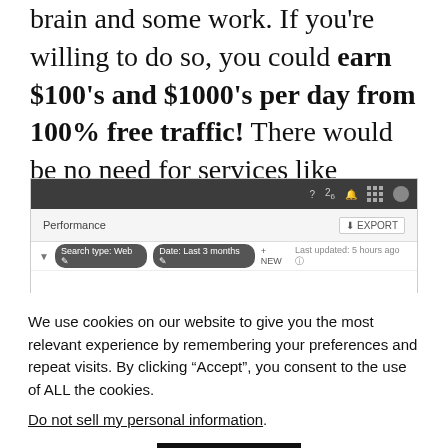brain and some work. If you're willing to do so, you could earn $100's and $1000's per day from 100% free traffic! There would be no need for services like Simple Traffic.
[Figure (screenshot): Screenshot of a Google Search Console Performance dashboard showing the top bar, Performance label with Export button, and filter bar with Search type: Web, Date: Last 3 months, + NEW filter options and Last updated: 5 hours ago text.]
We use cookies on our website to give you the most relevant experience by remembering your preferences and repeat visits. By clicking “Accept”, you consent to the use of ALL the cookies.
Do not sell my personal information.
Cookie settings   ACCEPT